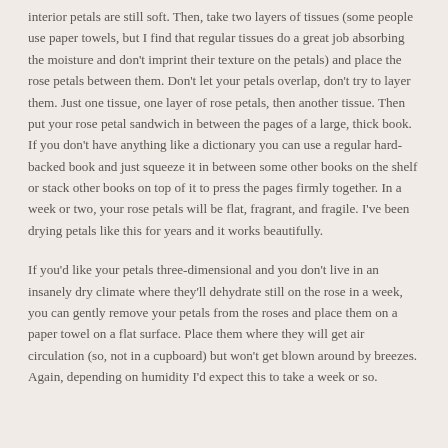interior petals are still soft. Then, take two layers of tissues (some people use paper towels, but I find that regular tissues do a great job absorbing the moisture and don't imprint their texture on the petals) and place the rose petals between them. Don't let your petals overlap, don't try to layer them. Just one tissue, one layer of rose petals, then another tissue. Then put your rose petal sandwich in between the pages of a large, thick book. If you don't have anything like a dictionary you can use a regular hard-backed book and just squeeze it in between some other books on the shelf or stack other books on top of it to press the pages firmly together. In a week or two, your rose petals will be flat, fragrant, and fragile. I've been drying petals like this for years and it works beautifully.
If you'd like your petals three-dimensional and you don't live in an insanely dry climate where they'll dehydrate still on the rose in a week, you can gently remove your petals from the roses and place them on a paper towel on a flat surface. Place them where they will get air circulation (so, not in a cupboard) but won't get blown around by breezes. Again, depending on humidity I'd expect this to take a week or so.